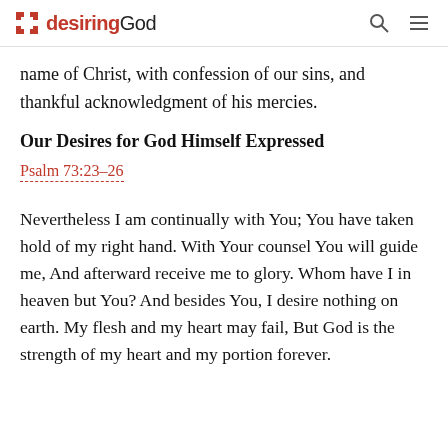desiringGod
name of Christ, with confession of our sins, and thankful acknowledgment of his mercies.
Our Desires for God Himself Expressed
Psalm 73:23-26
Nevertheless I am continually with You; You have taken hold of my right hand. With Your counsel You will guide me, And afterward receive me to glory. Whom have I in heaven but You? And besides You, I desire nothing on earth. My flesh and my heart may fail, But God is the strength of my heart and my portion forever.